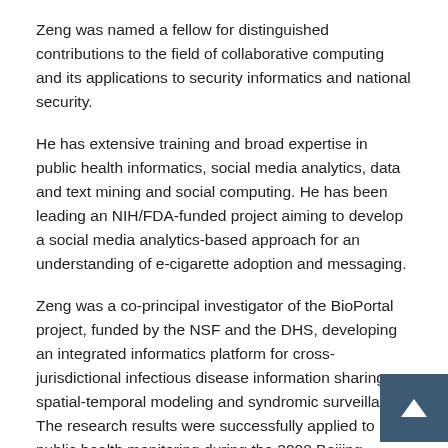Zeng was named a fellow for distinguished contributions to the field of collaborative computing and its applications to security informatics and national security.
He has extensive training and broad expertise in public health informatics, social media analytics, data and text mining and social computing. He has been leading an NIH/FDA-funded project aiming to develop a social media analytics-based approach for an understanding of e-cigarette adoption and messaging.
Zeng was a co-principal investigator of the BioPortal project, funded by the NSF and the DHS, developing an integrated informatics platform for cross-jurisdictional infectious disease information sharing, spatial-temporal modeling and syndromic surveillance. The research results were successfully applied to public health monitoring during the 2008 Beijing Olympics.
Election as an AAAS fellow is an honor bestowed on AAAS members by their peers. An induction ceremony will take place